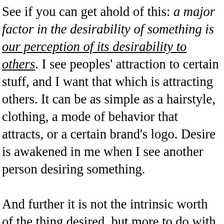See if you can get ahold of this: a major factor in the desirability of something is our perception of its desirability to others. I see peoples' attraction to certain stuff, and I want that which is attracting others. It can be as simple as a hairstyle, clothing, a mode of behavior that attracts, or a certain brand's logo. Desire is awakened in me when I see another person desiring something.

And further it is not the intrinsic worth of the thing desired, but more to do with my imitation of the desire which another has. So if my desire is awakened by another person's desire, this might explain the conflict that